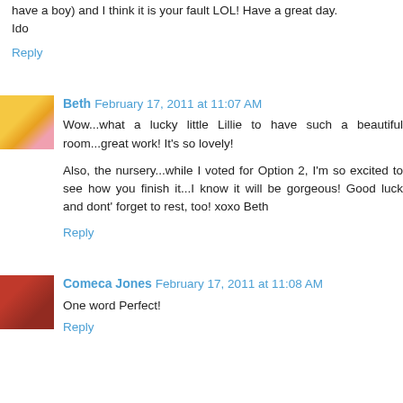have a boy) and I think it is your fault LOL! Have a great day.
Ido
Reply
Beth  February 17, 2011 at 11:07 AM
Wow...what a lucky little Lillie to have such a beautiful room...great work! It's so lovely!

Also, the nursery...while I voted for Option 2, I'm so excited to see how you finish it...I know it will be gorgeous! Good luck and dont' forget to rest, too! xoxo Beth
Reply
Comeca Jones  February 17, 2011 at 11:08 AM
One word Perfect!
Reply